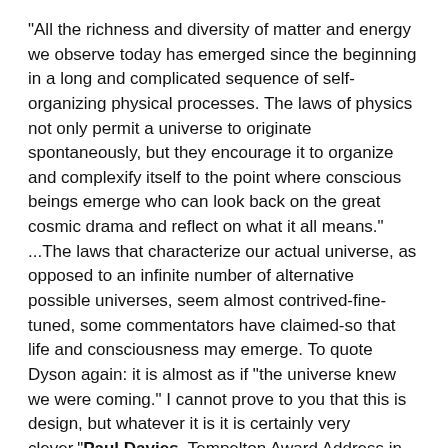"All the richness and diversity of matter and energy we observe today has emerged since the beginning in a long and complicated sequence of self- organizing physical processes. The laws of physics not only permit a universe to originate spontaneously, but they encourage it to organize and complexify itself to the point where conscious beings emerge who can look back on the great cosmic drama and reflect on what it all means."
...The laws that characterize our actual universe, as opposed to an infinite number of alternative possible universes, seem almost contrived-fine-tuned, some commentators have claimed-so that life and consciousness may emerge. To quote Dyson again: it is almost as if "the universe knew we were coming." I cannot prove to you that this is design, but whatever it is it is certainly very clever."Paul Davies, Tempelton Award Address,in First Things
"Humanity is Cosmically spoecial,: The Washington post: